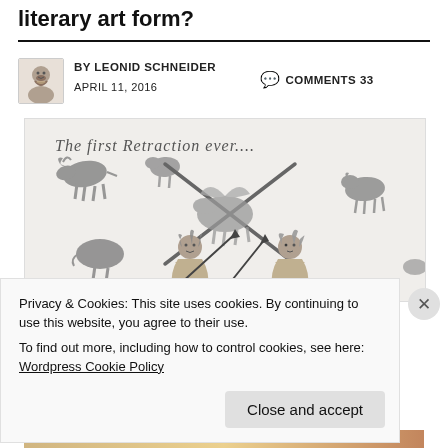literary art form?
BY LEONID SCHNEIDER   COMMENTS 33
APRIL 11, 2016
[Figure (illustration): Hand-drawn illustration showing prehistoric cave-painting style animals (bulls, horses, a pig or boar) with a large X crossed over them in pencil. Two cave-person figures are shown at the bottom. Text at top reads: 'The first Retraction ever...']
Privacy & Cookies: This site uses cookies. By continuing to use this website, you agree to their use.
To find out more, including how to control cookies, see here:
Wordpress Cookie Policy